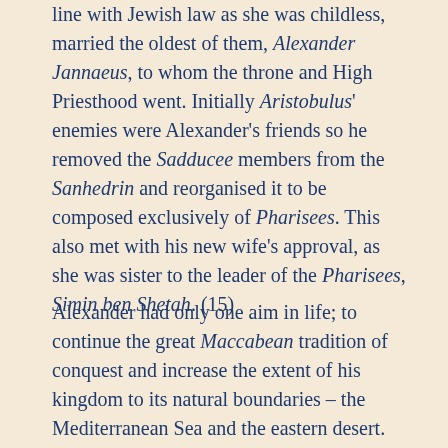line with Jewish law as she was childless, married the oldest of them, Alexander Jannaeus, to whom the throne and High Priesthood went. Initially Aristobulus' enemies were Alexander's friends so he removed the Sadducee members from the Sanhedrin and reorganised it to be composed exclusively of Pharisees. This also met with his new wife's approval, as she was sister to the leader of the Pharisees, Simin ben Shetah. (15)
Alexander had only one aim in life; to continue the great Maccabean tradition of conquest and increase the extent of his kingdom to its natural boundaries – the Mediterranean Sea and the eastern desert.  Unfortunately, he